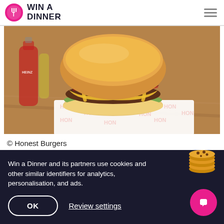Win a Dinner
[Figure (photo): A close-up photo of a gourmet burger with melted cheese, bacon, guacamole, on a branded paper wrapper, with Heinz ketchup bottles in the background.]
© Honest Burgers
Win a Dinner and its partners use cookies and other similar identifiers for analytics, personalisation, and ads.
OK   Review settings